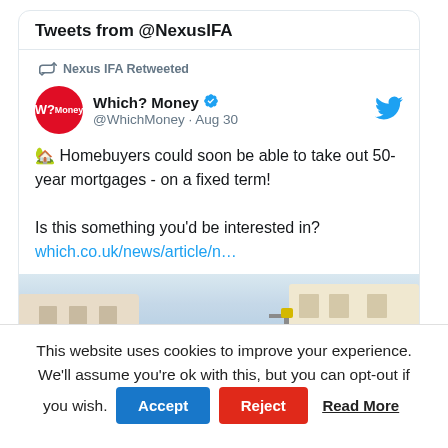Tweets from @NexusIFA
Nexus IFA Retweeted
Which? Money @WhichMoney · Aug 30
🏡 Homebuyers could soon be able to take out 50-year mortgages - on a fixed term!

Is this something you'd be interested in? which.co.uk/news/article/n…
[Figure (photo): Street view of residential buildings with a lamppost]
This website uses cookies to improve your experience. We'll assume you're ok with this, but you can opt-out if you wish. Accept Reject Read More